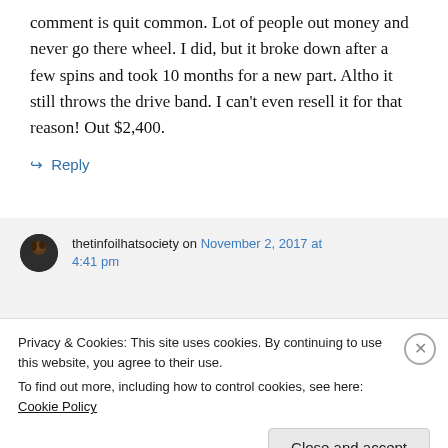comment is quit common. Lot of people out money and never go there wheel. I did, but it broke down after a few spins and took 10 months for a new part. Altho it still throws the drive band. I can't even resell it for that reason! Out $2,400.
↪ Reply
thetinfoilhatsociety on November 2, 2017 at 4:41 pm
Privacy & Cookies: This site uses cookies. By continuing to use this website, you agree to their use.
To find out more, including how to control cookies, see here: Cookie Policy
Close and accept